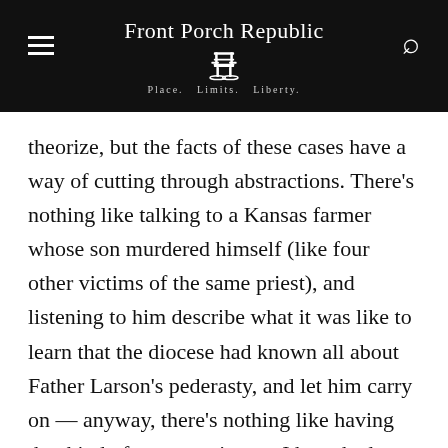Front Porch Republic — Place. Limits. Liberty.
theorize, but the facts of these cases have a way of cutting through abstractions. There's nothing like talking to a Kansas farmer whose son murdered himself (like four other victims of the same priest), and listening to him describe what it was like to learn that the diocese had known all about Father Larson's pederasty, and let him carry on — anyway, there's nothing like having that kind of conversation, as I have had, to force one to confront the